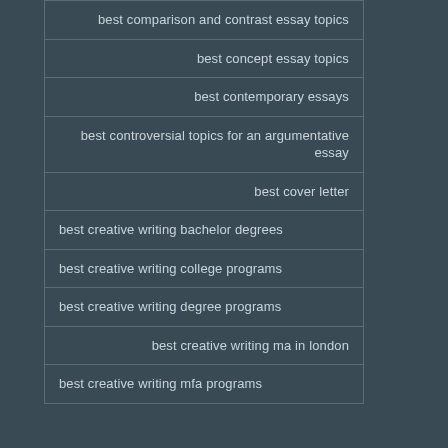best comparison and contrast essay topics
best concept essay topics
best contemporary essays
best controversial topics for an argumentative essay
best cover letter
best creative writing bachelor degrees
best creative writing college programs
best creative writing degree programs
best creative writing ma in london
best creative writing mfa programs